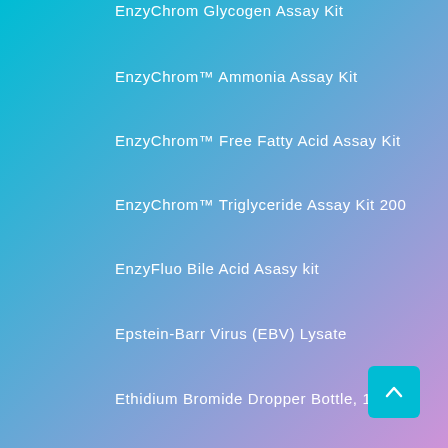EnzyChrom Glycogen Assay Kit
EnzyChrom™ Ammonia Assay Kit
EnzyChrom™ Free Fatty Acid Assay Kit
EnzyChrom™ Triglyceride Assay Kit 200
EnzyFluo Bile Acid Asasy kit
Epstein-Barr Virus (EBV) Lysate
Ethidium Bromide Dropper Bottle, 10ml
[Figure (other): Back-to-top navigation button with upward chevron arrow, cyan/teal colored square button]